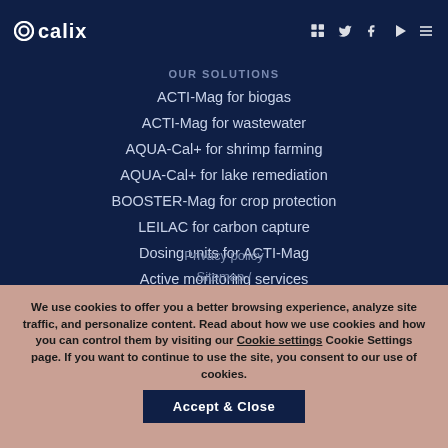Calix logo with navigation icons (LinkedIn, Twitter, Facebook, YouTube, Menu)
OUR SOLUTIONS
ACTI-Mag for biogas
ACTI-Mag for wastewater
AQUA-Cal+ for shrimp farming
AQUA-Cal+ for lake remediation
BOOSTER-Mag for crop protection
LEILAC for carbon capture
Dosing units for ACTI-Mag
Active monitoring services
Privacy policy
Sitemap /
We use cookies to offer you a better browsing experience, analyze site traffic, and personalize content. Read about how we use cookies and how you can control them by visiting our Cookie settings Cookie Settings page. If you want to continue to use the site, you consent to our use of cookies.
Accept & Close
Social media icons: LinkedIn, Twitter, Facebook, and reCAPTCHA badge